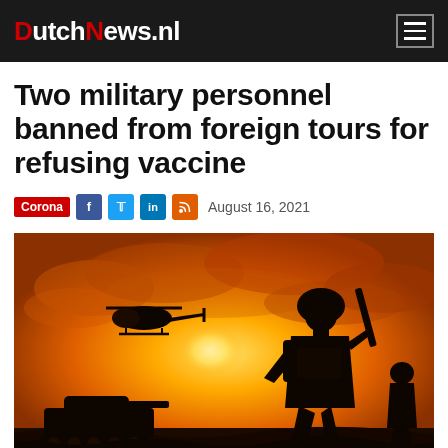DutchNews.nl
Two military personnel banned from foreign tours for refusing vaccine
Corona  August 16, 2021
[Figure (photo): Silhouette of a soldier with rifle, tank, and helicopter against an orange sunset sky]